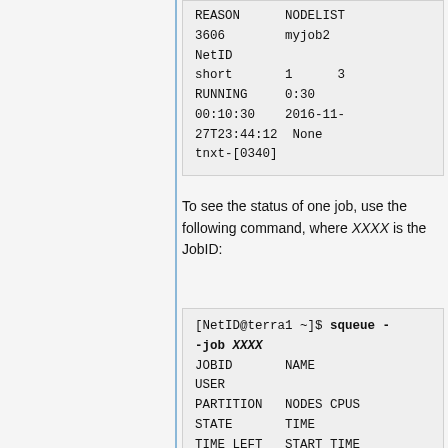[Figure (screenshot): Code/terminal box showing squeue output with fields: REASON, NODELIST, 3606, myjob2, NetID, short, 1, 3, RUNNING, 0:30, 00:10:30, 2016-11-27T23:44:12, None, tnxt-[0340]]
To see the status of one job, use the following command, where XXXX is the JobID:
[Figure (screenshot): Terminal code box showing: [NetID@terra1 ~]$ squeue --job XXXX followed by column headers JOBID NAME USER PARTITION NODES CPUS STATE TIME TIME_LEFT START_TIME REASON NODELIST XXXX myjob2 NetID]